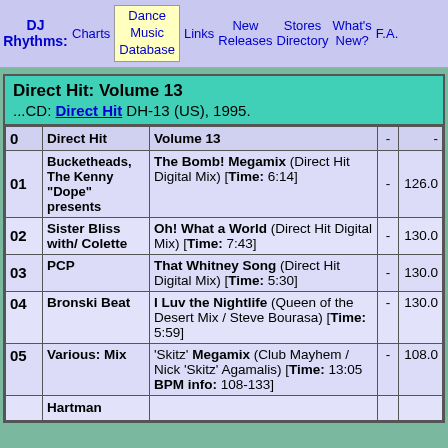DJ Rhythms: | Charts | Dance Music Database | Links | New Releases | Stores Directory | What's New? | F.A...
Direct Hit: Volume 13
...CD: Direct Hit DH-13 (US), 1995.
| # | Artist | Track | - | BPM |
| --- | --- | --- | --- | --- |
| 0 | Direct Hit | Volume 13 | - | - |
| 01 | Bucketheads, The Kenny "Dope" presents | The Bomb! Megamix (Direct Hit Digital Mix) [Time: 6:14] | - | 126.0 |
| 02 | Sister Bliss with/ Colette | Oh! What a World (Direct Hit Digital Mix) [Time: 7:43] | - | 130.0 |
| 03 | PCP | That Whitney Song (Direct Hit Digital Mix) [Time: 5:30] | - | 130.0 |
| 04 | Bronski Beat | I Luv the Nightlife (Queen of the Desert Mix / Steve Bourasa) [Time: 5:59] | - | 130.0 |
| 05 | Various: Mix | 'Skitz' Megamix (Club Mayhem / Nick 'Skitz' Agamalis) [Time: 13:05 BPM info: 108-133] | - | 108.0 |
|  | Hartman |  |  |  |